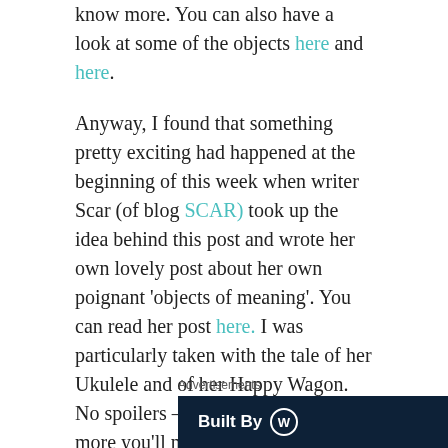know more. You can also have a look at some of the objects here and here.
Anyway, I found that something pretty exciting had happened at the beginning of this week when writer Scar (of blog SCAR) took up the idea behind this post and wrote her own lovely post about her own poignant 'objects of meaning'. You can read her post here. I was particularly taken with the tale of her Ukulele and of her Happy Wagon. No spoilers – if you want to know more you'll need to head over there to get the full story. If you like books, or ever have occasion to roam London looking for good places to hang out or eat, her blog is also for you.
Advertisements
[Figure (other): Dark navy banner advertisement with 'Built By' text and WordPress logo in white on dark background]